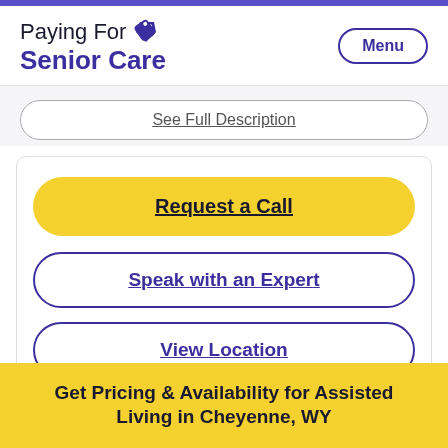Paying For Senior Care
See Full Description
Request a Call
Speak with an Expert
View Location
Get Pricing & Availability for Assisted Living in Cheyenne, WY